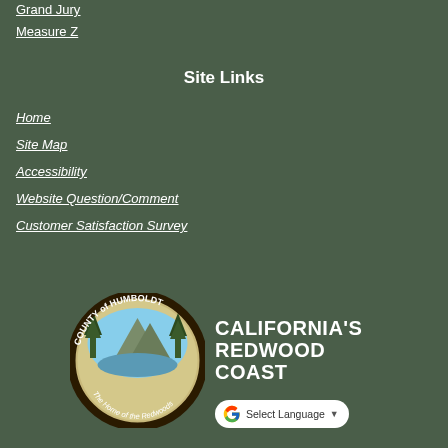Grand Jury
Measure Z
Site Links
Home
Site Map
Accessibility
Website Question/Comment
Customer Satisfaction Survey
[Figure (logo): County of Humboldt seal with redwood trees and text 'The Home of the Redwoods']
CALIFORNIA'S REDWOOD COAST
Select Language